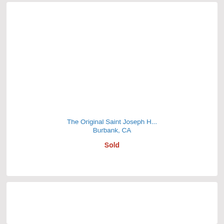The Original Saint Joseph H...
Burbank, CA
Sold